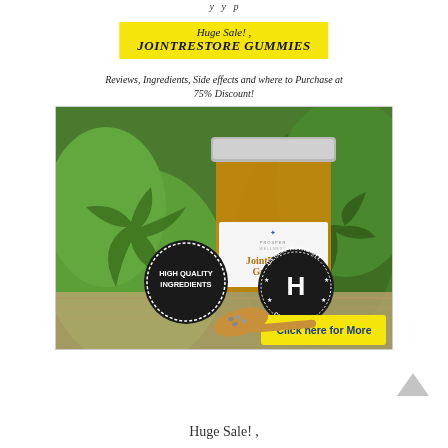y y p
Huge Sale! , JOINTRESTORE GUMMIES
Reviews, Ingredients, Side effects and where to Purchase at 75% Discount!
[Figure (photo): Product photo of JointRestore Gummies jar by Prosper Wellness, surrounded by hemp/cannabis plants and a wooden spoon with seeds. Features 'HIGH QUALITY INGREDIENTS' badge, 'US Hemp Authority Certified' seal, and 'Click here for More' yellow button overlay.]
Huge Sale! ,